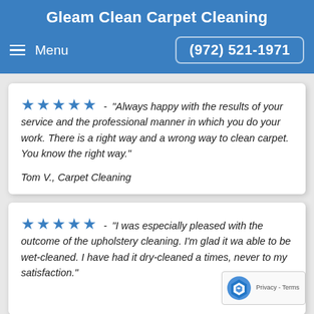Gleam Clean Carpet Cleaning
Menu   (972) 521-1971
★★★★★ - "Always happy with the results of your service and the professional manner in which you do your work. There is a right way and a wrong way to clean carpet. You know the right way."

Tom V., Carpet Cleaning
★★★★★ - "I was especially pleased with the outcome of the upholstery cleaning. I'm glad it was able to be wet-cleaned. I have had it dry-cleaned a times, never to my satisfaction."